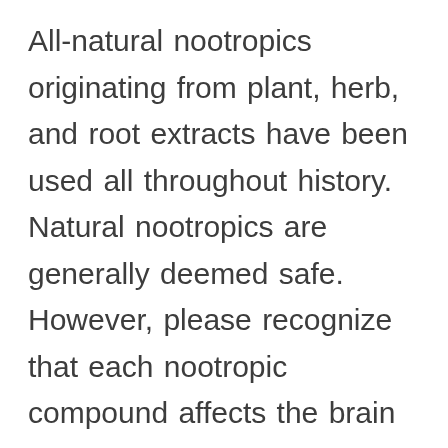All-natural nootropics originating from plant, herb, and root extracts have been used all throughout history. Natural nootropics are generally deemed safe. However, please recognize that each nootropic compound affects the brain and body differently. Factors to consider when taking any supplement are age, body weight, dosage, possible interactions with other drugs, and individual health issues. It is safest to ask your healthcare provider if any supplement you're considering taking is right for you. For the FDA supplementation recommendations, go